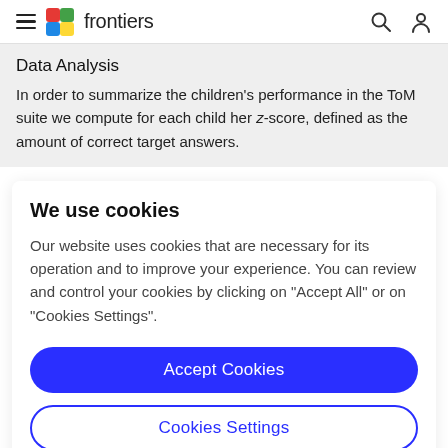frontiers
Data Analysis
In order to summarize the children's performance in the ToM suite we compute for each child her z-score, defined as the amount of correct target answers.
We use cookies
Our website uses cookies that are necessary for its operation and to improve your experience. You can review and control your cookies by clicking on "Accept All" or on "Cookies Settings".
Accept Cookies
Cookies Settings